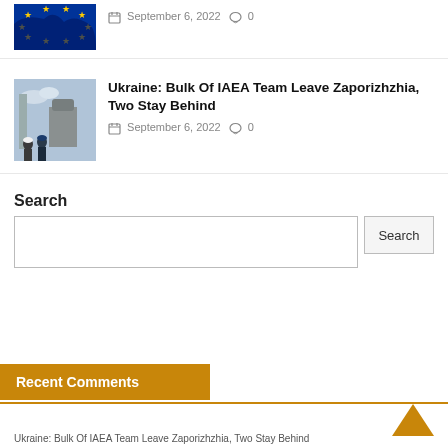[Figure (photo): EU flag with stars on dark background, cropped top portion]
September 6, 2022  0
[Figure (photo): People in hard hats and work gear at nuclear facility, IAEA team at Zaporizhzhia]
Ukraine: Bulk Of IAEA Team Leave Zaporizhzhia, Two Stay Behind
September 6, 2022  0
Search
Search input field
Recent Comments
Ukraine: Bulk Of IAEA Team Leave Zaporizhzhia, Two Stay Behind